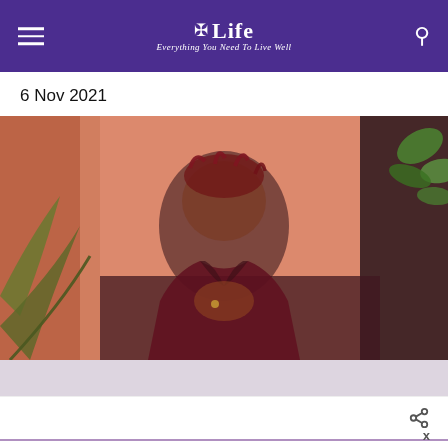Life — Everything You Need To Live Well
6 Nov 2021
[Figure (photo): A young Black man with red dreadlocks wearing a dark red/maroon blazer, leaning against a pink-orange wall, surrounded by tropical plants. He is looking directly at the camera with hands clasped.]
Share icon
X